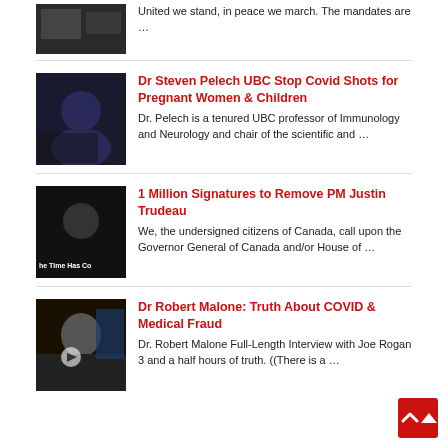United we stand, in peace we march. The mandates are …
[Figure (photo): Thumbnail image for article about Dr Steven Pelech UBC Stop Covid Shots for Pregnant Women & Children]
Dr Steven Pelech UBC Stop Covid Shots for Pregnant Women & Children
Dr. Pelech is a tenured UBC professor of Immunology and Neurology and chair of the scientific and …
[Figure (photo): Thumbnail image showing a person with text 'The Time Has Co' — article about 1 Million Signatures to Remove PM Justin Trudeau]
1 Million Signatures to Remove PM Justin Trudeau
We, the undersigned citizens of Canada, call upon the Governor General of Canada and/or House of …
[Figure (photo): Thumbnail image of Dr Robert Malone with play button overlay]
Dr Robert Malone: Truth About COVID & Medical Fraud
Dr. Robert Malone Full-Length Interview with Joe Rogan 3 and a half hours of truth. ((There is a …